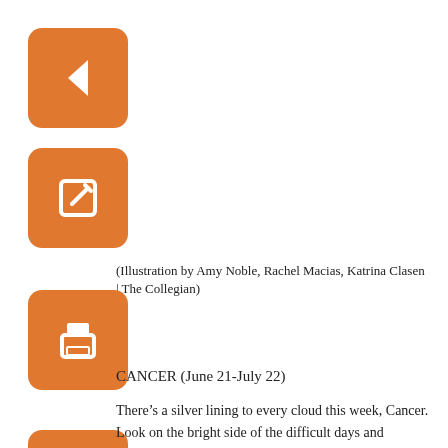[Figure (illustration): Orange square icon button with white left-arrow, navigation back button]
[Figure (illustration): Orange square icon button with white edit/pencil icon]
(Illustration by Amy Noble, Rachel Macias, Katrina Clasen | The Collegian)
[Figure (illustration): Orange square icon button with white printer icon]
CANCER (June 21-July 22)
[Figure (illustration): Orange square icon button with white PDF/document icon]
There’s a silver lining to every cloud this week, Cancer. Look on the bright side of the difficult days and encourage those around you to do the same.
[Figure (illustration): Broken image placeholder icon in a rectangular box]